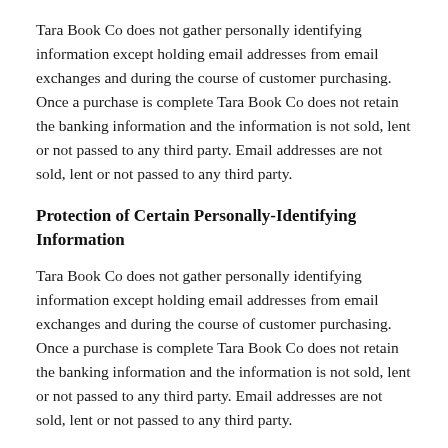Tara Book Co does not gather personally identifying information except holding email addresses from email exchanges and during the course of customer purchasing. Once a purchase is complete Tara Book Co does not retain the banking information and the information is not sold, lent or not passed to any third party. Email addresses are not sold, lent or not passed to any third party.
Protection of Certain Personally-Identifying Information
Tara Book Co does not gather personally identifying information except holding email addresses from email exchanges and during the course of customer purchasing. Once a purchase is complete Tara Book Co does not retain the banking information and the information is not sold, lent or not passed to any third party. Email addresses are not sold, lent or not passed to any third party.